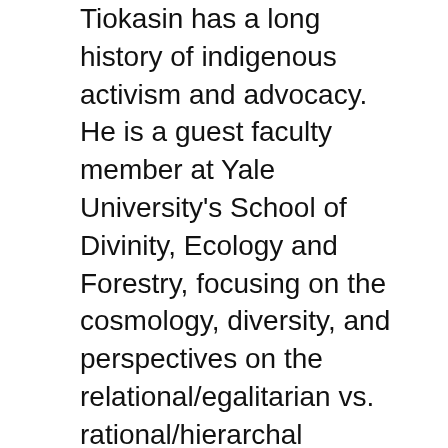Tiokasin has a long history of indigenous activism and advocacy. He is a guest faculty member at Yale University's School of Divinity, Ecology and Forestry, focusing on the cosmology, diversity, and perspectives on the relational/egalitarian vs. rational/hierarchal thinking processes of Western society. Tiokasin is the Founder, Host, and Executive Producer of the twenty-four-year-old “First Voices Radio” (formerly “First Voices Indigenous Radio”), a one-hour live program now syndicated to seventy radio stations in the U.S. and Canada.
A master musician and a teacher of magical, ancient, and modern sounds, Tiokasin performs worldwide and has been featured at the Cathedral of Saint John the Divine, Lincoln Center, Madison Square Garden, the Metropolitan Museum of Art, and the United Nations, as well as at many universities and concert